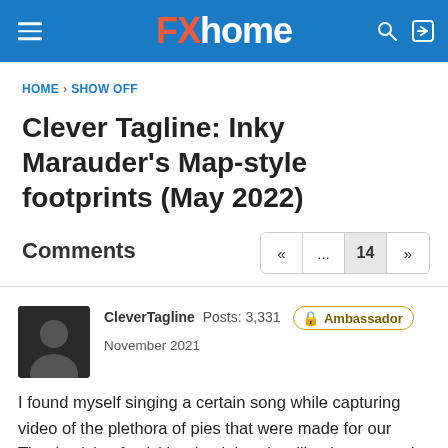FXhome
HOME › SHOW OFF
Clever Tagline: Inky Marauder's Map-style footprints (May 2022)
Comments
CleverTagline  Posts: 3,331  Ambassador  November 2021
I found myself singing a certain song while capturing video of the plethora of pies that were made for our Thanksgiving festivities (and there's still at least one pie to be made!), so I